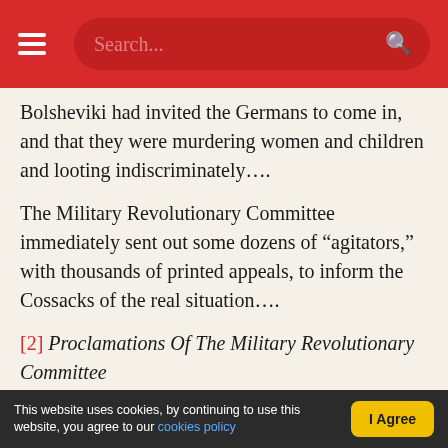Search...
Bolsheviki had invited the Germans to come in, and that they were murdering women and children and looting indiscriminately….
The Military Revolutionary Committee immediately sent out some dozens of “agitators,” with thousands of printed appeals, to inform the Cossacks of the real situation….
[2] Proclamations Of The Military Revolutionary Committee
“To All Soviets of Workers’,
This website uses cookies, by continuing to use this website, you agree to our cookies policy